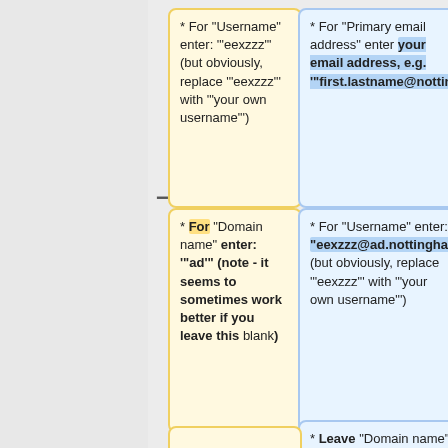[Figure (flowchart): Flowchart showing login credential instructions with yellow and blue boxes connected by plus and minus symbols. Top row: yellow box with username instruction, blue box with primary email address instruction. Middle row: yellow box with domain name instruction, blue box with username instruction using full email format. Bottom: blue box with leave domain name blank instruction.]